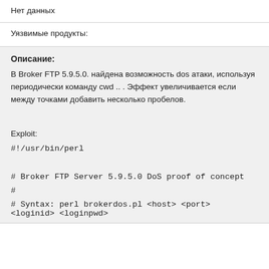Нет данных
Уязвимые продукты:
Описание:
В Broker FTP 5.9.5.0. найдена возможность dos атаки, используя периодически команду cwd .. . Эффект увеличивается если между точками добавить несколько пробелов.
Exploit:
#!/usr/bin/perl
# Broker FTP Server 5.9.5.0 DoS proof of concept
#
# Syntax: perl brokerdos.pl <host> <port> <loginid> <loginpwd>